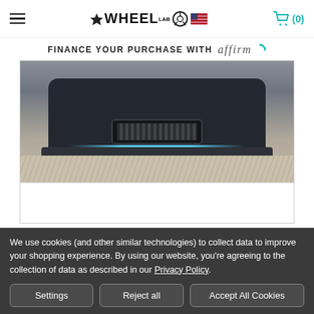WheelLab navigation header with hamburger menu, logo, and cart (0)
FINANCE YOUR PURCHASE WITH affirm
[Figure (photo): Close-up photo of a car front bumper/grille on a sandy/concrete surface, showing dark grille, blue accent lighting strip, and car body detail]
[Figure (photo): Three thumbnail image selectors below the main car image, first one highlighted with teal border]
We use cookies (and other similar technologies) to collect data to improve your shopping experience. By using our website, you're agreeing to the collection of data as described in our Privacy Policy.
Settings | Reject all | Accept All Cookies